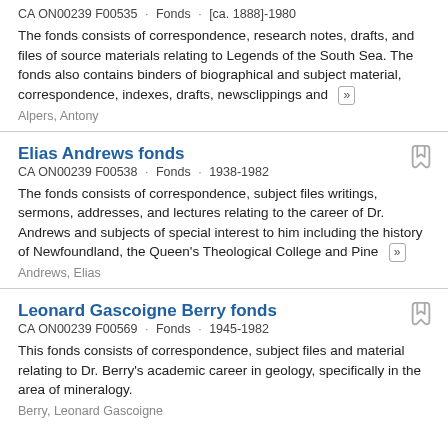CA ON00239 F00535 · Fonds · [ca. 1888]-1980
The fonds consists of correspondence, research notes, drafts, and files of source materials relating to Legends of the South Sea. The fonds also contains binders of biographical and subject material, correspondence, indexes, drafts, newsclippings and ...
Alpers, Antony
Elias Andrews fonds
CA ON00239 F00538 · Fonds · 1938-1982
The fonds consists of correspondence, subject files writings, sermons, addresses, and lectures relating to the career of Dr. Andrews and subjects of special interest to him including the history of Newfoundland, the Queen's Theological College and Pine ...
Andrews, Elias
Leonard Gascoigne Berry fonds
CA ON00239 F00569 · Fonds · 1945-1982
This fonds consists of correspondence, subject files and material relating to Dr. Berry's academic career in geology, specifically in the area of mineralogy.
Berry, Leonard Gascoigne